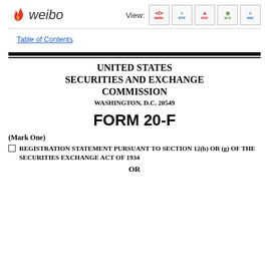Weibo | View: XBRL RTF PDF XLS XBC
Table of Contents
UNITED STATES SECURITIES AND EXCHANGE COMMISSION WASHINGTON, D.C. 20549
FORM 20-F
(Mark One)
REGISTRATION STATEMENT PURSUANT TO SECTION 12(b) OR (g) OF THE SECURITIES EXCHANGE ACT OF 1934
OR